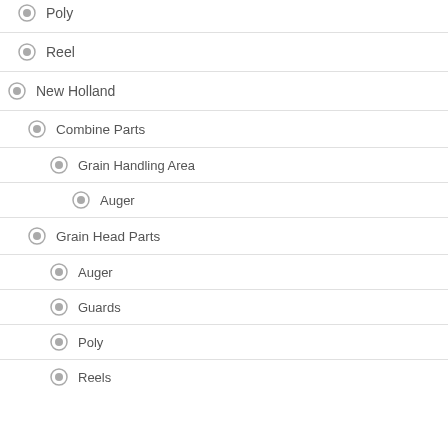Poly
Reel
New Holland
Combine Parts
Grain Handling Area
Auger
Grain Head Parts
Auger
Guards
Poly
Reels